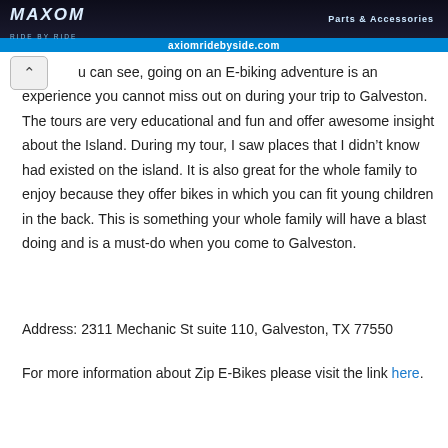[Figure (photo): Website banner for Axiom Ride by Ride with logo text and Parts & Accessories label, showing axiomridebyside.com URL on blue bar]
u can see, going on an E-biking adventure is an experience you cannot miss out on during your trip to Galveston. The tours are very educational and fun and offer awesome insight about the Island. During my tour, I saw places that I didn't know had existed on the island. It is also great for the whole family to enjoy because they offer bikes in which you can fit young children in the back. This is something your whole family will have a blast doing and is a must-do when you come to Galveston.
Address: 2311 Mechanic St suite 110, Galveston, TX 77550
For more information about Zip E-Bikes please visit the link here.